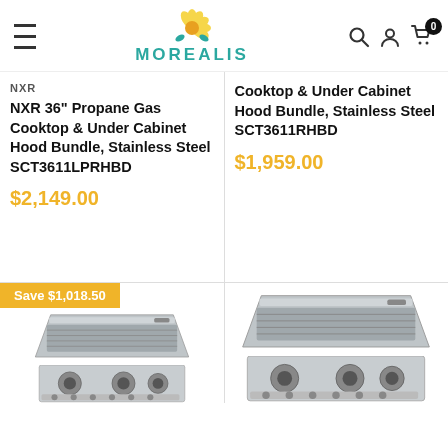MOREALIS
NXR
NXR 36" Propane Gas Cooktop & Under Cabinet Hood Bundle, Stainless Steel SCT3611LPRHBD
$2,149.00
Cooktop & Under Cabinet Hood Bundle, Stainless Steel SCT3611RHBD
$1,959.00
Save $1,018.50
[Figure (photo): Stainless steel under-cabinet range hood and gas cooktop product images]
[Figure (photo): Stainless steel under-cabinet range hood and gas cooktop product images (right column)]